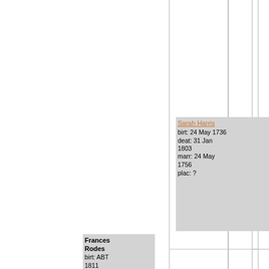[Figure (other): Genealogy/family tree diagram showing ancestors. Major/Major box (top right) with birth 1696, place Hanover Virginia, death 8 Aug 1765, place Brown's Cove Albemarle County Virginia, marriage 30 Jan 1719/1720 place Hanover Co. VA, marriage 30 Jan 1720 place Hanover County Virginia. Sarah Harris box (middle) with birth 24 May 1736, death 31 Jan 1803, marriage 24 May 1756, place ?. Mourning Glenn box (lower right) with birth 1702, death 1770, marriage 30 Jan 1719/1720 place Hanover Co. VA, marriage 30 Jan 1720 place Hanover County Virginia. Frances Rodes box (bottom left) with birth ABT 1811.]